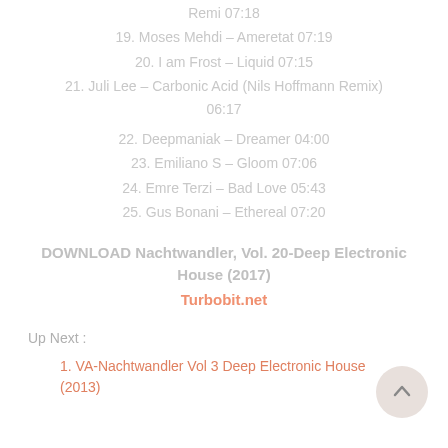Remi 07:18
19. Moses Mehdi – Ameretat 07:19
20. I am Frost – Liquid 07:15
21. Juli Lee – Carbonic Acid (Nils Hoffmann Remix) 06:17
22. Deepmaniak – Dreamer 04:00
23. Emiliano S – Gloom 07:06
24. Emre Terzi – Bad Love 05:43
25. Gus Bonani – Ethereal 07:20
DOWNLOAD Nachtwandler, Vol. 20-Deep Electronic House (2017)
Turbobit.net
Up Next :
1. VA-Nachtwandler Vol 3 Deep Electronic House (2013)